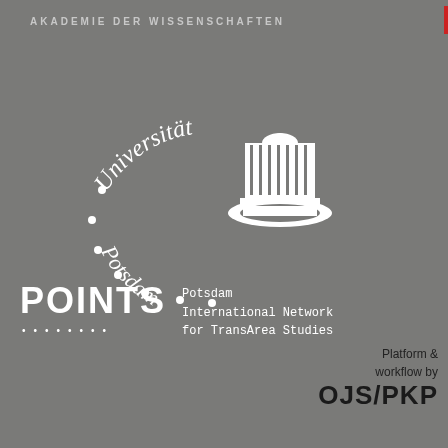[Figure (logo): AKADEMIE DER WISSENSCHAFTEN header text (partially cut off) with red vertical bar accent on the right]
[Figure (logo): Universität Potsdam logo: text 'Universität' arched at top, 'Potsdam' curved along left side with dots in circular arrangement, and a white neoclassical building/dome illustration on the right]
[Figure (logo): POINTS logo with text 'Potsdam International Network for TransArea Studies Platform & workflow by OJS/PKP']